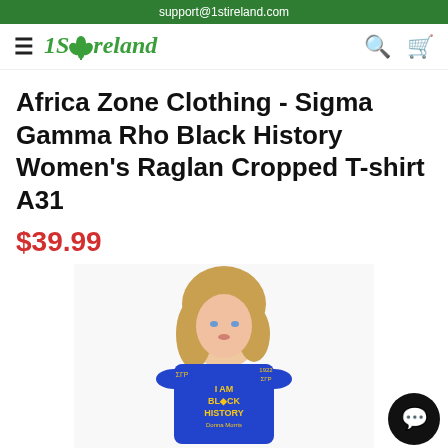support@1stireland.com
[Figure (screenshot): Navigation bar with hamburger menu, 1StIreland logo with shamrock, search and cart icons]
Africa Zone Clothing - Sigma Gamma Rho Black History Women's Raglan Cropped T-shirt A31
$39.99
[Figure (photo): Woman wearing a blue cropped raglan T-shirt with 'I AM BLACK HISTORY' text and Sigma Gamma Rho markings. The shirt is royal blue with gold/yellow text and Greek letters.]